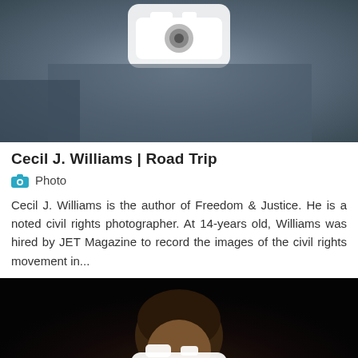[Figure (photo): Black and white photograph of a person holding a large camera, civil rights photographer Cecil J. Williams]
Cecil J. Williams | Road Trip
Photo
Cecil J. Williams is the author of Freedom & Justice. He is a noted civil rights photographer. At 14-years old, Williams was hired by JET Magazine to record the images of the civil rights movement in...
[Figure (photo): Color photograph of a person against a dark/black background with a camera icon overlay]